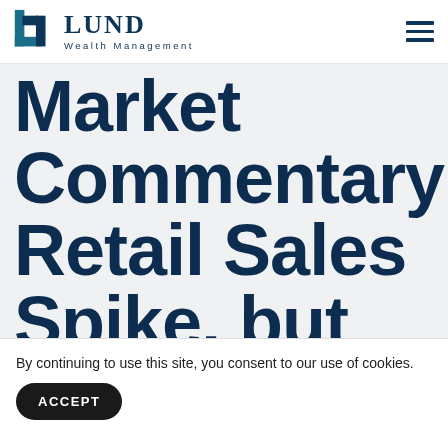LUND Wealth Management
Market Commentary: Retail Sales Spike, but Unemployment
By continuing to use this site, you consent to our use of cookies.
ACCEPT